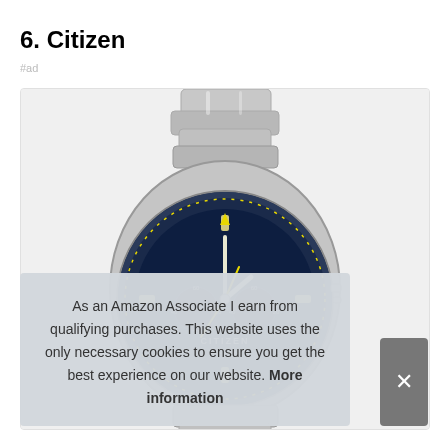6. Citizen
#ad
[Figure (photo): Citizen Eco-Drive chronograph watch with blue dial, yellow accent hands and markers, silver stainless steel bracelet and case with rotating bezel. The watch face shows CITIZEN Eco-Drive branding.]
As an Amazon Associate I earn from qualifying purchases. This website uses the only necessary cookies to ensure you get the best experience on our website. More information